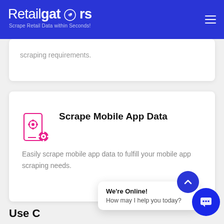Retailgators — Scrape Retail Data within Seconds!
scraping requirements.
Scrape Mobile App Data
Easily scrape mobile app data to fulfill your mobile app scraping needs.
Use C
We're Online! How may I help you today?